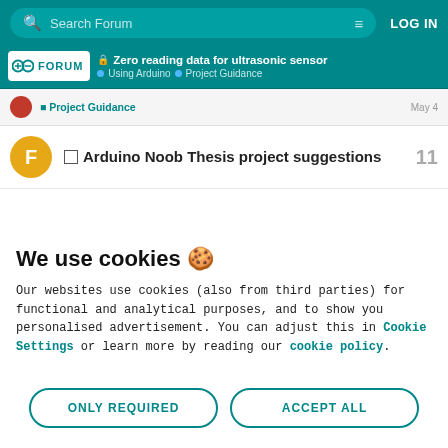Search Forum | LOG IN
Zero reading data for ultrasonic sensor · Using Arduino · Project Guidance
Project Guidance  May 4
Arduino Noob Thesis project suggestions  11
We use cookies 🍪
Our websites use cookies (also from third parties) for functional and analytical purposes, and to show you personalised advertisement. You can adjust this in Cookie Settings or learn more by reading our cookie policy.
ONLY REQUIRED
ACCEPT ALL